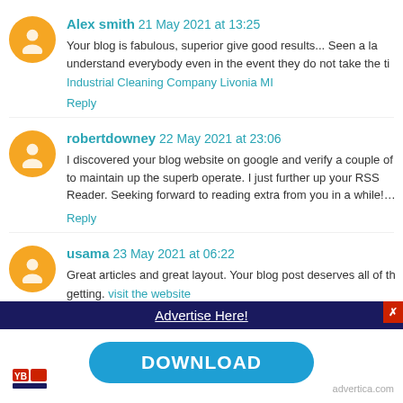Alex smith 21 May 2021 at 13:25 - Your blog is fabulous, superior give good results... Seen a la understand everybody even in the event they do not take the ti Industrial Cleaning Company Livonia MI - Reply
robertdowney 22 May 2021 at 23:06 - I discovered your blog website on google and verify a couple of to maintain up the superb operate. I just further up your RSS Reader. Seeking forward to reading extra from you in a while!... - Reply
usama 23 May 2021 at 06:22 - Great articles and great layout. Your blog post deserves all of th getting. visit the website
Advertise Here!
DOWNLOAD
advertica.com